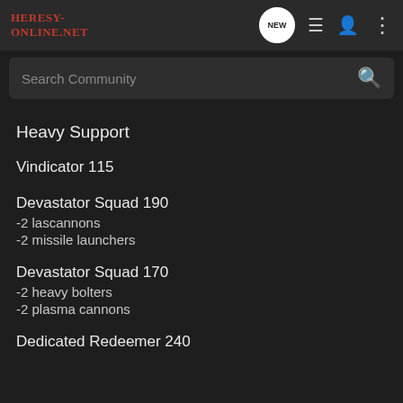Heresy-Online.net
Heavy Support
Vindicator 115
Devastator Squad 190
-2 lascannons
-2 missile launchers
Devastator Squad 170
-2 heavy bolters
-2 plasma cannons
Dedicated Redeemer 240